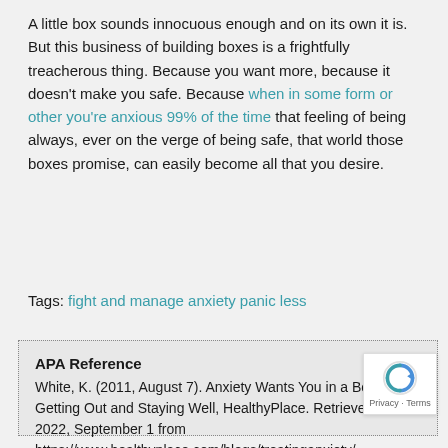A little box sounds innocuous enough and on its own it is. But this business of building boxes is a frightfully treacherous thing. Because you want more, because it doesn't make you safe. Because when in some form or other you're anxious 99% of the time that feeling of being always, ever on the verge of being safe, that world those boxes promise, can easily become all that you desire.
Tags: fight and manage anxiety panic less
APA Reference
White, K. (2011, August 7). Anxiety Wants You in a Box: Getting Out and Staying Well, HealthyPlace. Retrieved on 2022, September 1 from https://www.healthyplace.com/blogs/treatinganxiety/wants-you-in-a-box